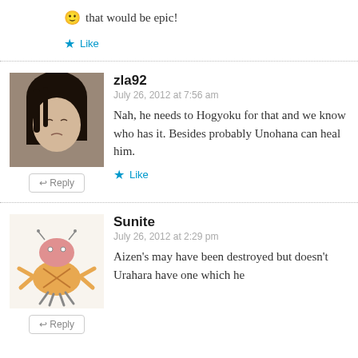🙂 that would be epic!
★ Like
zla92
July 26, 2012 at 7:56 am
Nah, he needs to Hogyoku for that and we know who has it. Besides probably Unohana can heal him.
★ Like
Sunite
July 26, 2012 at 2:29 pm
Aizen's may have been destroyed but doesn't Urahara have one which he